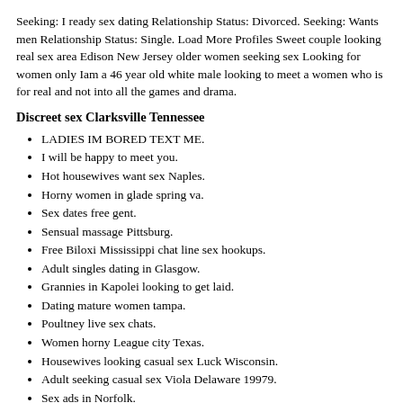Seeking: I ready sex dating Relationship Status: Divorced. Seeking: Wants men Relationship Status: Single. Load More Profiles Sweet couple looking real sex area Edison New Jersey older women seeking sex Looking for women only Iam a 46 year old white male looking to meet a women who is for real and not into all the games and drama.
Discreet sex Clarksville Tennessee
LADIES IM BORED TEXT ME.
I will be happy to meet you.
Hot housewives want sex Naples.
Horny women in glade spring va.
Sex dates free gent.
Sensual massage Pittsburg.
Free Biloxi Mississippi chat line sex hookups.
Adult singles dating in Glasgow.
Grannies in Kapolei looking to get laid.
Dating mature women tampa.
Poultney live sex chats.
Women horny League city Texas.
Housewives looking casual sex Luck Wisconsin.
Adult seeking casual sex Viola Delaware 19979.
Sex ads in Norfolk.